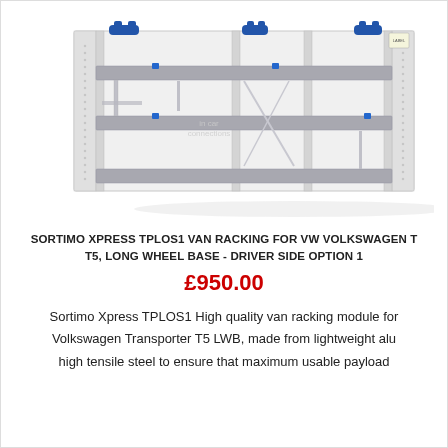[Figure (photo): Product photo of a Sortimo Xpress TPLOS1 van racking unit — a wide aluminium shelving system with three horizontal shelves, blue handles on top, blue accent clips, and vertical dividers, shown against a white background with a faint reflection and a watermark 'in car connections'.]
SORTIMO XPRESS TPLOS1 VAN RACKING FOR VW VOLKSWAGEN T5, LONG WHEEL BASE - DRIVER SIDE OPTION 1
£950.00
Sortimo Xpress TPLOS1 High quality van racking module for Volkswagen Transporter T5 LWB, made from lightweight alu high tensile steel to ensure that maximum usable payload